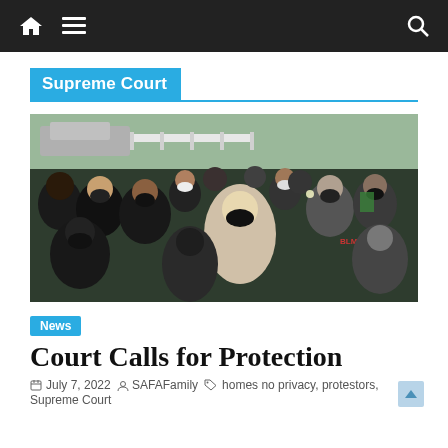Navigation bar with home, menu, and search icons
Supreme Court
[Figure (photo): A large crowd of people, many wearing black face masks, gathered outdoors on a street or path with trees and parked vehicles in the background. The photo appears to be taken at dusk or during a protest event.]
News
Court Calls for Protection
July 7, 2022  SAFAFamily  homes no privacy, protestors, Supreme Court